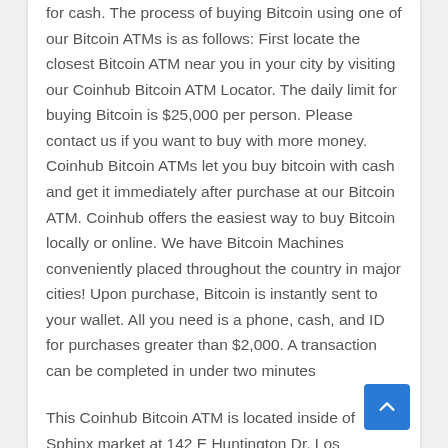for cash. The process of buying Bitcoin using one of our Bitcoin ATMs is as follows: First locate the closest Bitcoin ATM near you in your city by visiting our Coinhub Bitcoin ATM Locator. The daily limit for buying Bitcoin is $25,000 per person. Please contact us if you want to buy with more money. Coinhub Bitcoin ATMs let you buy bitcoin with cash and get it immediately after purchase at our Bitcoin ATM. Coinhub offers the easiest way to buy Bitcoin locally or online. We have Bitcoin Machines conveniently placed throughout the country in major cities! Upon purchase, Bitcoin is instantly sent to your wallet. All you need is a phone, cash, and ID for purchases greater than $2,000. A transaction can be completed in under two minutes
This Coinhub Bitcoin ATM is located inside of Sphinx market at 142 E Huntington Dr. Los Angeles, CA 91006, USA. It allows you to buy Bitcoin at the